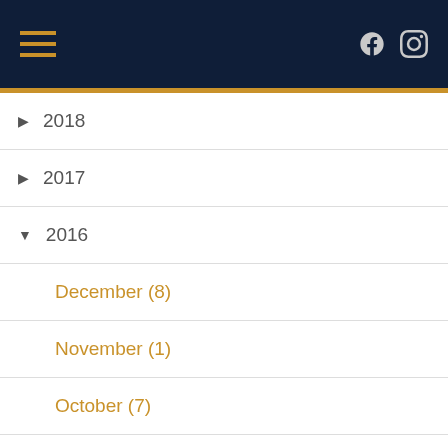Navigation header with hamburger menu and social icons (Facebook, Instagram)
▶ 2018
▶ 2017
▼ 2016
December (8)
November (1)
October (7)
September (1)
August (3)
July (7) ➔
June (5)
Mass Times & Directions